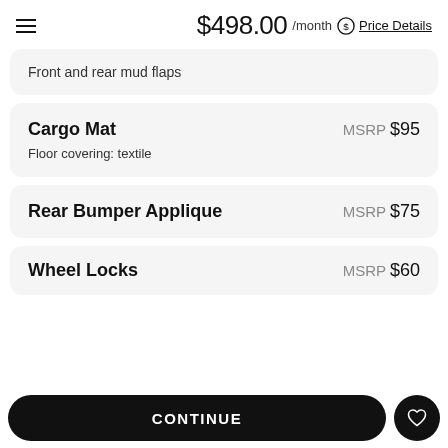$498.00 /month Price Details
Front and rear mud flaps
Cargo Mat
Floor covering: textile
MSRP $95
Rear Bumper Applique
MSRP $75
Wheel Locks
MSRP $60
CONTINUE